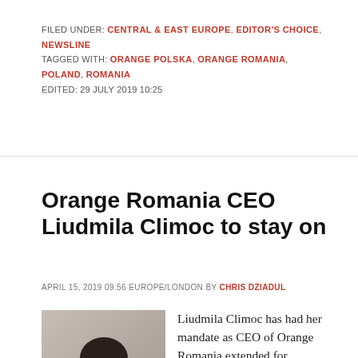FILED UNDER: CENTRAL & EAST EUROPE, EDITOR'S CHOICE, NEWSLINE
TAGGED WITH: ORANGE POLSKA, ORANGE ROMANIA, POLAND, ROMANIA
EDITED: 29 JULY 2019 10:25
Orange Romania CEO Liudmila Climoc to stay on
APRIL 15, 2019 09.56 EUROPE/LONDON BY CHRIS DZIADUL
[Figure (photo): Portrait photo of Liudmila Climoc, a woman with dark shoulder-length hair wearing a white jacket]
Liudmila Climoc has had her mandate as CEO of Orange Romania extended for